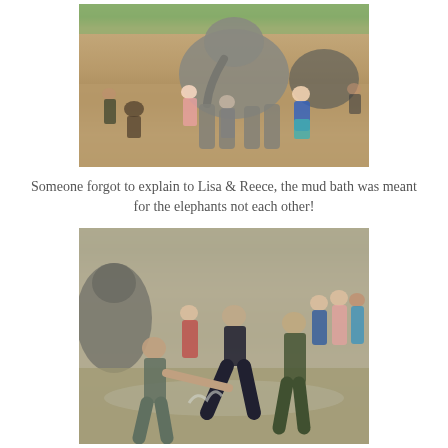[Figure (photo): People and elephants in a mud bath area outdoors. Several tourists including children are walking/playing in the mud with elephants nearby.]
Someone forgot to explain to Lisa & Reece, the mud bath was meant for the elephants not each other!
[Figure (photo): People playing and splashing in muddy water with elephants in the background. A woman is reaching out toward others in the water.]
Yep, she can't help herself